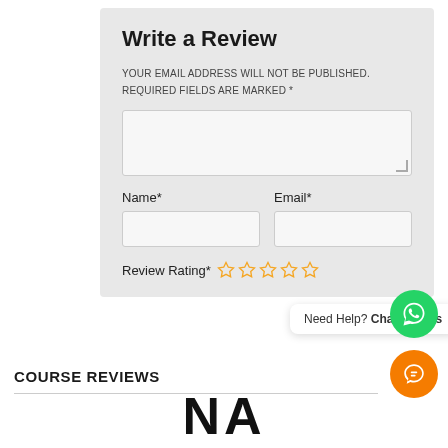Write a Review
YOUR EMAIL ADDRESS WILL NOT BE PUBLISHED.
REQUIRED FIELDS ARE MARKED *
Name*
Email*
Review Rating*
Need Help? Chat with us
COURSE REVIEWS
NA